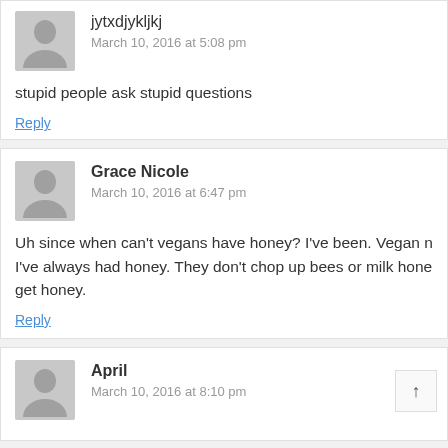jytxdjykljkj
March 10, 2016 at 5:08 pm
stupid people ask stupid questions
Reply
Grace Nicole
March 10, 2016 at 6:47 pm
Uh since when can't vegans have honey? I've been. Vegan n I've always had honey. They don't chop up bees or milk hone get honey.
Reply
April
March 10, 2016 at 8:10 pm